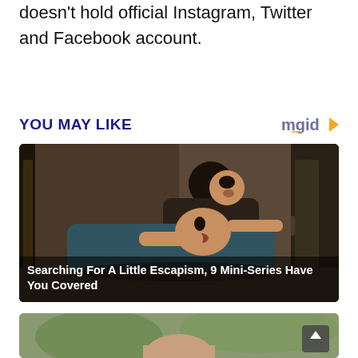doesn't hold official Instagram, Twitter and Facebook account.
YOU MAY LIKE
[Figure (photo): Two men wrestling or play-fighting near a doorway, one on top of the other, both with mouths open. Indoor scene with dim lighting.]
Searching For A Little Escapism, 9 Mini-Series Have You Covered
[Figure (photo): Partial view of a person outdoors, cropped at bottom of page.]